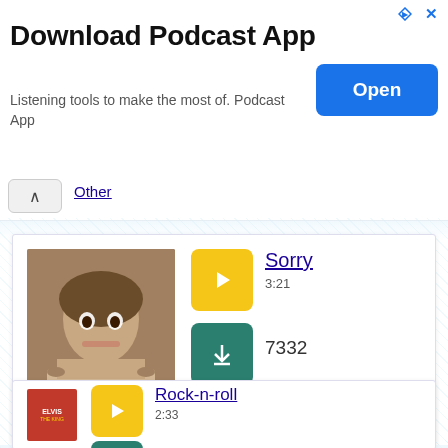[Figure (screenshot): Ad banner for Download Podcast App with Open button]
Download Podcast App
Listening tools to make the most of. Podcast App
Open
Other
[Figure (photo): Justin Bieber photo - young man with styled hair]
Sorry
3:21
7332
Justin Bieber
Pop
[Figure (photo): Elvis - The King album cover with red background]
Rock-n-roll
2:33
5504